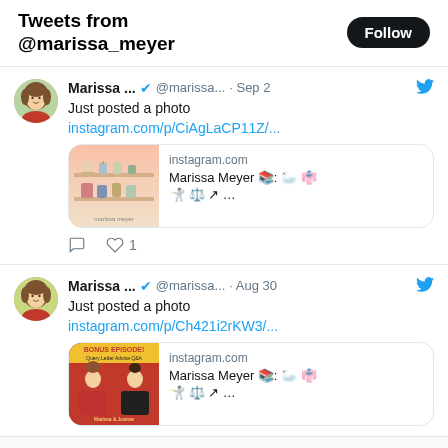Tweets from @marissa_meyer
Marissa ... @marissa... · Sep 2
Just posted a photo
instagram.com/p/CiAgLaCP11Z/...
[Figure (screenshot): Instagram link preview card showing shelf with candles/cups. Site: instagram.com, Title: Marissa Meyer 📚: 🦢 🎅 🤺 ⚖️ 𝄪 ...]
♡ 1
Marissa ... @marissa... · Aug 30
Just posted a photo
instagram.com/p/Ch421i2rKW3/...
[Figure (screenshot): Instagram link preview card showing BONUS EPISODE! Query Letter Advice Q&A Marissa & Joanne podcast cover. Site: instagram.com, Title: Marissa Meyer 📚: 🦢 🎅 🤺 ⚖️ 𝄪 ...]